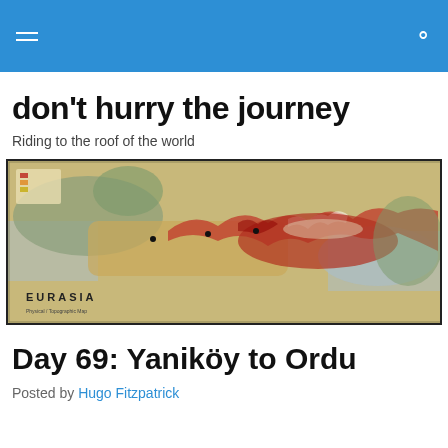don't hurry the journey — navigation header
don't hurry the journey
Riding to the roof of the world
[Figure (map): Vintage physical/topographic map of Eurasia showing mountain ranges with red/brown relief shading, labeled 'EURASIA' in the lower left corner. The Himalayan and Central Asian mountain ranges are prominently shown in red.]
Day 69: Yaniköy to Ordu
Posted by Hugo Fitzpatrick